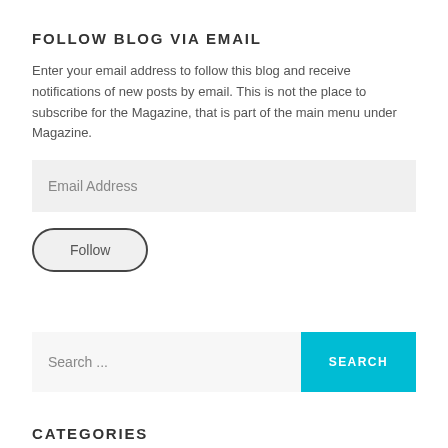FOLLOW BLOG VIA EMAIL
Enter your email address to follow this blog and receive notifications of new posts by email. This is not the place to subscribe for the Magazine, that is part of the main menu under Magazine.
Email Address
Follow
Search ...
SEARCH
CATEGORIES